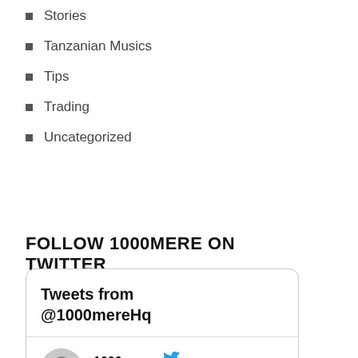Stories
Tanzanian Musics
Tips
Trading
Uncategorized
FOLLOW 1000MERE ON TWITTER
[Figure (screenshot): Twitter widget showing 'Tweets from @1000mereHq' header and a tweet row with avatar, username '1000mer...', Twitter bird icon, and date '· Jul 9, 2021']